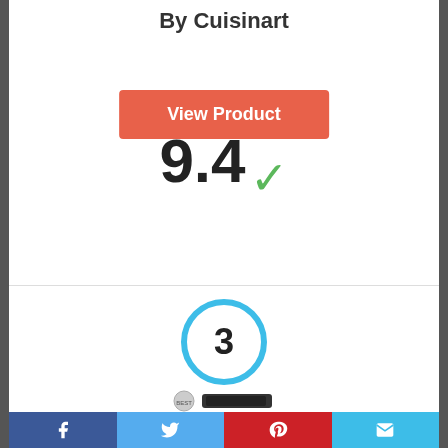By Cuisinart
View Product
9.4
Score
[Figure (infographic): Circle badge with number 3 inside, outlined in blue]
[Figure (photo): Partial product image of a Cuisinart appliance with a seal badge]
Facebook | Twitter | Pinterest | Email social share bar